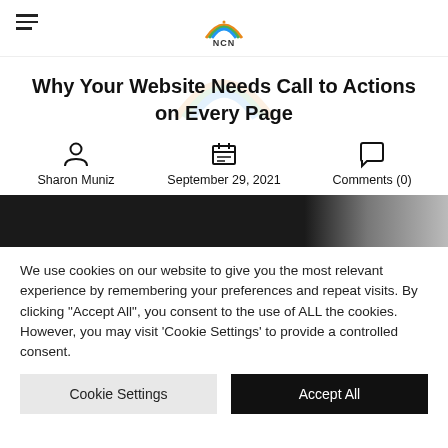NCN (logo)
Why Your Website Needs Call to Actions on Every Page
Sharon Muniz · September 29, 2021 · Comments (0)
[Figure (photo): Dark hero image strip]
We use cookies on our website to give you the most relevant experience by remembering your preferences and repeat visits. By clicking "Accept All", you consent to the use of ALL the cookies. However, you may visit 'Cookie Settings' to provide a controlled consent.